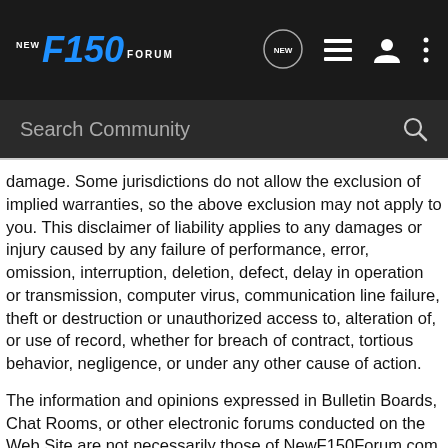NEW F150 FORUM — navigation header with search bar
damage. Some jurisdictions do not allow the exclusion of implied warranties, so the above exclusion may not apply to you. This disclaimer of liability applies to any damages or injury caused by any failure of performance, error, omission, interruption, deletion, defect, delay in operation or transmission, computer virus, communication line failure, theft or destruction or unauthorized access to, alteration of, or use of record, whether for breach of contract, tortious behavior, negligence, or under any other cause of action.
The information and opinions expressed in Bulletin Boards, Chat Rooms, or other electronic forums conducted on the Web Site are not necessarily those of NewF150Forum.com or its service providers, affiliates, associates, subsidiaries or partners and NewF150Forum.com makes no representations or warranties regarding that information or those opinions. Neither